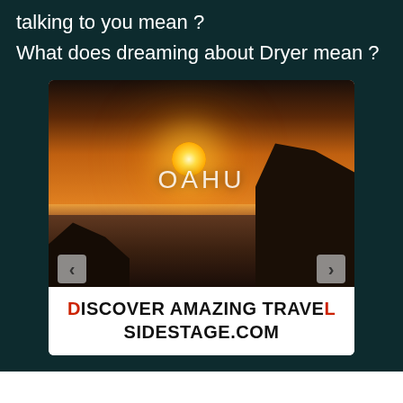talking to you mean ?
What does dreaming about Dryer mean ?
[Figure (photo): Sunset photo over ocean with rocky cliffs labeled OAHU, part of a travel advertisement for sidestage.com]
DISCOVER AMAZING TRAVEL SIDESTAGE.COM